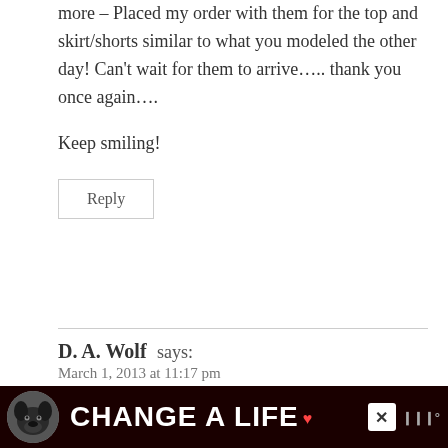more – Placed my order with them for the top and skirt/shorts similar to what you modeled the other day! Can't wait for them to arrive….. thank you once again….
Keep smiling!
Reply
D. A. Wolf says:
March 1, 2013 at 11:17 pm
Any Louboutin give-aways / contests in the works?
[Figure (infographic): Dark red advertisement banner showing a black labrador dog in a circle, bold white text 'CHANGE A LIFE' with a heart symbol, a white X close button, and a logo in grey on the right.]